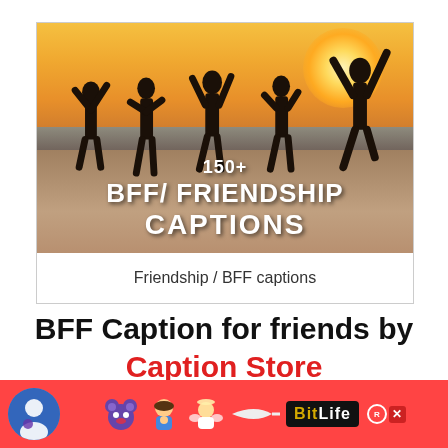[Figure (photo): Five friends silhouetted jumping on a beach at sunset with sun glowing on the right, sandy beach and water in background. Text overlay reads '150+ BFF/ FRIENDSHIP CAPTIONS' in white bold font.]
Friendship / BFF captions
BFF Caption for friends by Caption Store
[Figure (infographic): Red advertisement banner with cartoon emoji characters (blue avatar with hat, bear/monster emoji, girl emoji, angel emoji, sperm-like shape), BitLife logo in black box with gold and white text, copyright circle and X close button.]